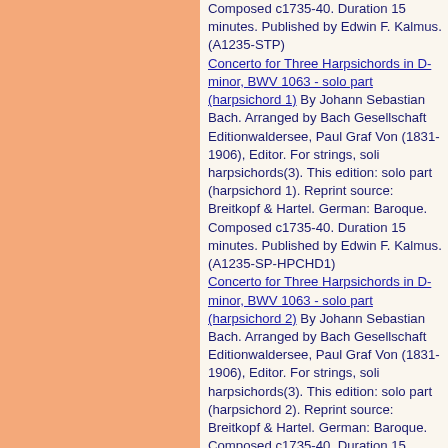Composed c1735-40. Duration 15 minutes. Published by Edwin F. Kalmus. (A1235-STP)
Concerto for Three Harpsichords in D-minor, BWV 1063 - solo part (harpsichord 1) By Johann Sebastian Bach. Arranged by Bach Gesellschaft Editionwaldersee, Paul Graf Von (1831-1906), Editor. For strings, soli harpsichords(3). This edition: solo part (harpsichord 1). Reprint source: Breitkopf & Hartel. German: Baroque. Composed c1735-40. Duration 15 minutes. Published by Edwin F. Kalmus. (A1235-SP-HPCHD1)
Concerto for Three Harpsichords in D-minor, BWV 1063 - solo part (harpsichord 2) By Johann Sebastian Bach. Arranged by Bach Gesellschaft Editionwaldersee, Paul Graf Von (1831-1906), Editor. For strings, soli harpsichords(3). This edition: solo part (harpsichord 2). Reprint source: Breitkopf & Hartel. German: Baroque. Composed c1735-40. Duration 15 minutes. Published by Edwin F. Kalmus. (A1235-SP-HPCHD2)
Concerto for Three Harpsichords in D-minor, BWV 1063 - solo part...